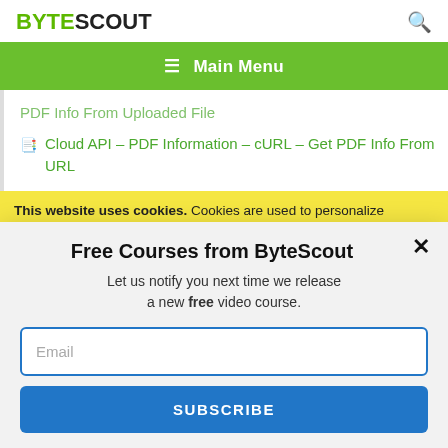BYTESCOUT
≡  Main Menu
PDF Info From Uploaded File
Cloud API – PDF Information – cURL – Get PDF Info From URL
This website uses cookies. Cookies are used to personalize content, analyze traffic, provide social media features, display ads. We also share
Free Courses from ByteScout
Let us notify you next time we release a new free video course.
Email
SUBSCRIBE